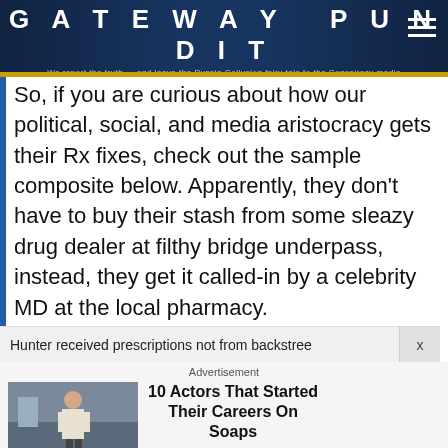GATEWAY PUNDIT — We report the truth — and leave the Russia-Collusion fairy tale to the Conspiracy media
So, if you are curious about how our political, social, and media aristocracy gets their Rx fixes, check out the sample composite below. Apparently, they don't have to buy their stash from some sleazy drug dealer at filthy bridge underpass, instead, they get it called-in by a celebrity MD at the local pharmacy.
Hunter received prescriptions not from backstree  x
Advertisement
10 Actors That Started Their Careers On Soaps
Brainberries